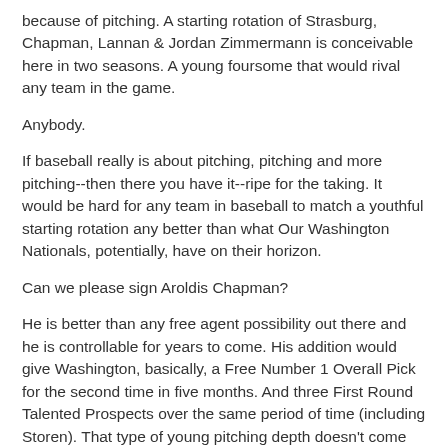because of pitching. A starting rotation of Strasburg, Chapman, Lannan & Jordan Zimmermann is conceivable here in two seasons. A young foursome that would rival any team in the game.
Anybody.
If baseball really is about pitching, pitching and more pitching--then there you have it--ripe for the taking. It would be hard for any team in baseball to match a youthful starting rotation any better than what Our Washington Nationals, potentially, have on their horizon.
Can we please sign Aroldis Chapman?
He is better than any free agent possibility out there and he is controllable for years to come. His addition would give Washington, basically, a Free Number 1 Overall Pick for the second time in five months. And three First Round Talented Prospects over the same period of time (including Storen). That type of young pitching depth doesn't come around too often.